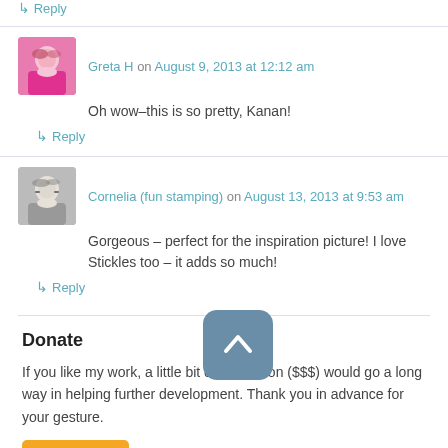↳ Reply
Greta H on August 9, 2013 at 12:12 am
Oh wow–this is so pretty, Kanan!
↳ Reply
Cornelia (fun stamping) on August 13, 2013 at 9:53 am
Gorgeous – perfect for the inspiration picture! I love Stickles too – it adds so much!
↳ Reply
Donate
If you like my work, a little bit of motivation ($$$) would go a long way in helping further development. Thank you in advance for your gesture.
[Figure (other): Donate button (PayPal-style yellow button labeled Donate)]
[Figure (other): Scroll-to-top button (blue rounded square with upward chevron arrow)]